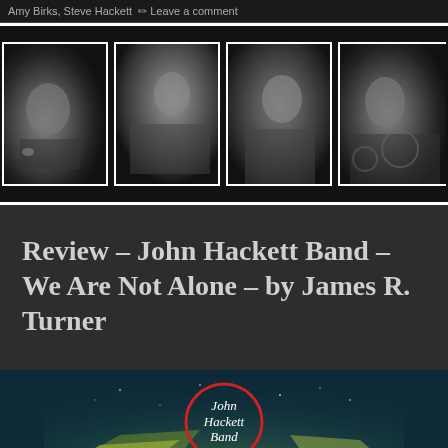Amy Birks, Steve Hackett  ✏ Leave a comment
[Figure (photo): Four black and white performance photos in a horizontal strip showing band members: vocalist at microphone, guitarist with electric guitar, another guitarist, and drummer with kit]
Review – John Hackett Band – We Are Not Alone – by James R. Turner
[Figure (photo): Album cover for John Hackett Band 'We Are Not Alone' — dark blue/teal background with light beams and the band name in handwritten script inside a circular logo]